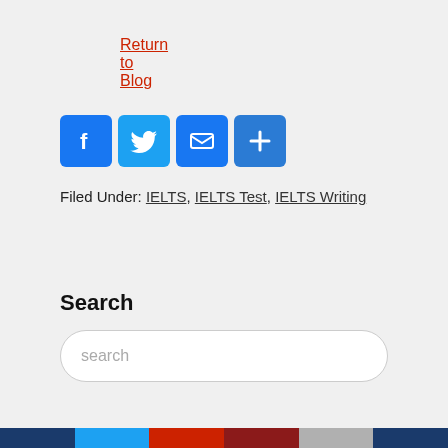Return to Blog
[Figure (other): Social share icons: Facebook (blue F), Twitter (blue bird), Email (blue envelope), Share/Plus (blue plus sign)]
Filed Under: IELTS, IELTS Test, IELTS Writing
Search
search (placeholder in search box)
[Figure (other): Color strip footer with navy, light blue, red, dark red, gray, and navy segments]